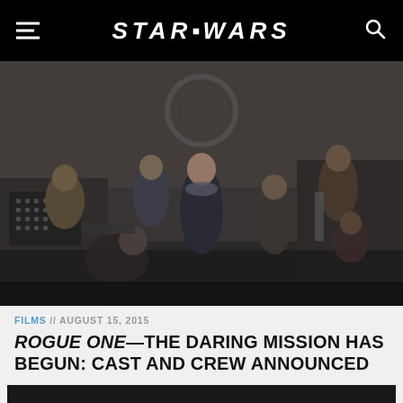STAR WARS
[Figure (photo): Group photo of Rogue One cast in costume on a dark industrial set, including the lead actress (Jyn Erso) at center, flanked by several other cast members with weapons and gear.]
FILMS // AUGUST 15, 2015
ROGUE ONE—THE DARING MISSION HAS BEGUN: CAST AND CREW ANNOUNCED
[Figure (photo): Dark bottom strip/partial image, predominantly black.]